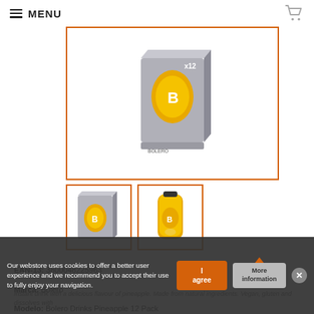MENU
[Figure (photo): Bolero Drinks Pineapple 12 Pack box — grey cardboard box with golden yellow drop/B logo, showing x12 on side]
[Figure (photo): Thumbnail 1: Bolero Drinks box (grey, small format)]
[Figure (photo): Thumbnail 2: Single Bolero Drinks Pineapple sachet/pouch (golden yellow)]
EAN-13: 3800048225963
Marca: Bolero
Modelo: Bolero Drinks Pineapple 12 Pack
Instant drink with a delicious flavour of pineapple. Made from natural ingredients.  Vegan, gluten and dissolves with...
Our webstore uses cookies to offer a better user experience and we recommend you to accept their use to fully enjoy your navigation.